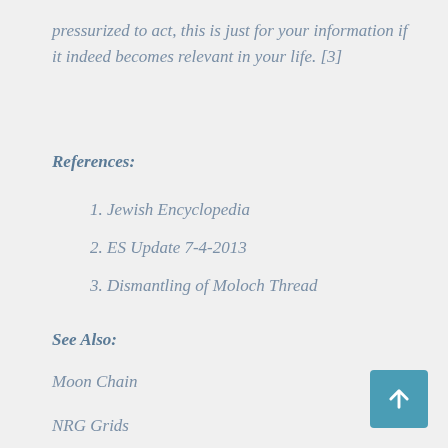pressurized to act, this is just for your information if it indeed becomes relevant in your life. [3]
References:
1. Jewish Encyclopedia
2. ES Update 7-4-2013
3. Dismantling of Moloch Thread
See Also:
Moon Chain
NRG Grids